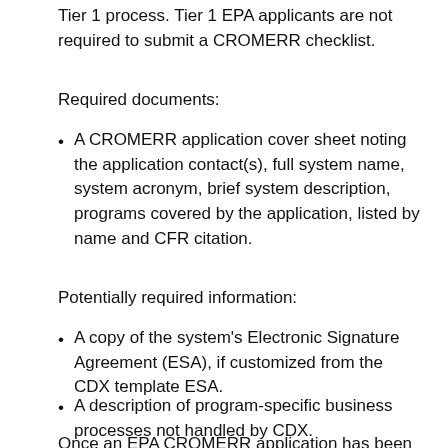Tier 1 process. Tier 1 EPA applicants are not required to submit a CROMERR checklist.
Required documents:
A CROMERR application cover sheet noting the application contact(s), full system name, system acronym, brief system description, programs covered by the application, listed by name and CFR citation.
Potentially required information:
A copy of the system's Electronic Signature Agreement (ESA), if customized from the CDX template ESA.
A description of program-specific business processes not handled by CDX.
Once an EPA CROMERR application has been prepared,